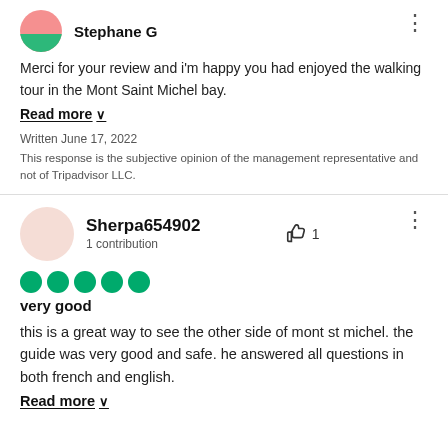Stephane G
Merci for your review and i'm happy you had enjoyed the walking tour in the Mont Saint Michel bay.
Read more ∨
Written June 17, 2022
This response is the subjective opinion of the management representative and not of Tripadvisor LLC.
Sherpa654902
1 contribution
very good
this is a great way to see the other side of mont st michel. the guide was very good and safe. he answered all questions in both french and english.
Read more ∨